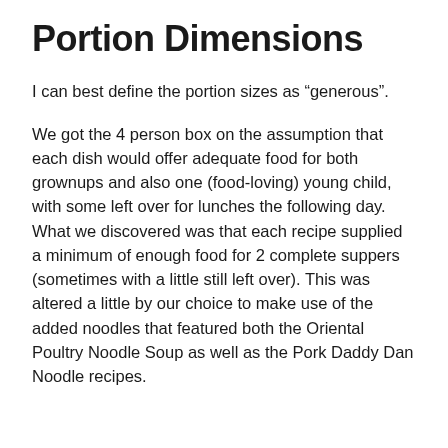Portion Dimensions
I can best define the portion sizes as “generously”.
We got the 4 person box on the assumption that each dish would offer adequate food for both grownups and also one (food-loving) young child, with some left over for lunches the following day. What we discovered was that each recipe supplied a minimum of enough food for 2 complete suppers (sometimes with a little still left over). This was altered a little by our choice to make use of the added noodles that featured both the Oriental Poultry Noodle Soup as well as the Pork Daddy Dan Noodle recipes.